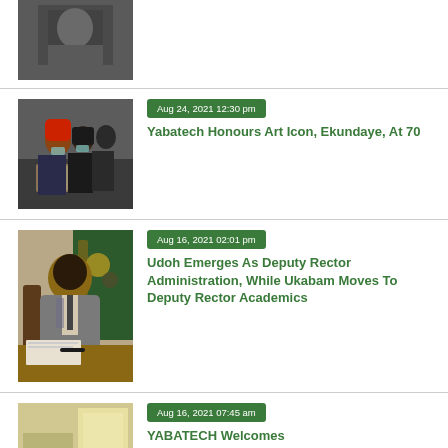[Figure (photo): Partial photo visible at top of page, cropped]
[Figure (photo): Group of people wearing face masks, one holding a certificate/plaque]
Aug 24, 2021 12:30 pm
Yabatech Honours Art Icon, Ekundaye, At 70
[Figure (photo): Man in grey suit sitting at desk signing documents, with a green board behind him]
Aug 16, 2021 02:01 pm
Udoh Emerges As Deputy Rector Administration, While Ukabam Moves To Deputy Rector Academics
[Figure (photo): Partial photo visible at bottom of page, appears to show a room]
Aug 16, 2021 07:45 am
YABATECH Welcomes